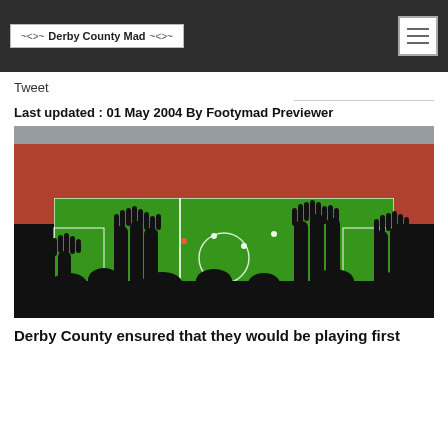Derby County Mad
Tweet
Last updated : 01 May 2004 By Footymad Previewer
[Figure (photo): Football stadium crowd with fans raising hands against a green pitch, packed stands visible in background]
Derby County ensured that they would be playing first